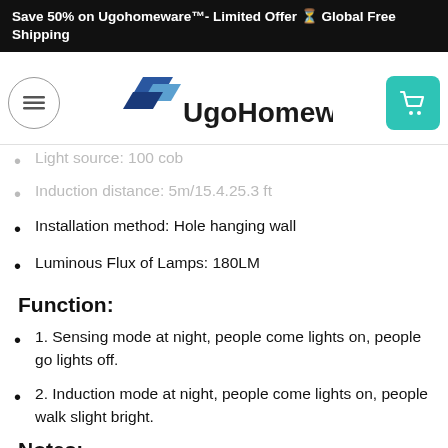Save 50% on Ugohomeware™- Limited Offer ⏳ Global Free Shipping
[Figure (logo): UgoHomeware logo with hamburger menu and cart icon]
Light source: 100 cob
Induction distance: 5m/15.4.25.3 ft
Installation method: Hole hanging wall
Luminous Flux of Lamps: 180LM
Function:
1. Sensing mode at night, people come lights on, people go lights off.
2. Induction mode at night, people come lights on, people walk slight bright.
Notes:
1. Due to the different monitor and light effect, the actual color of the item might be slightly different from the color